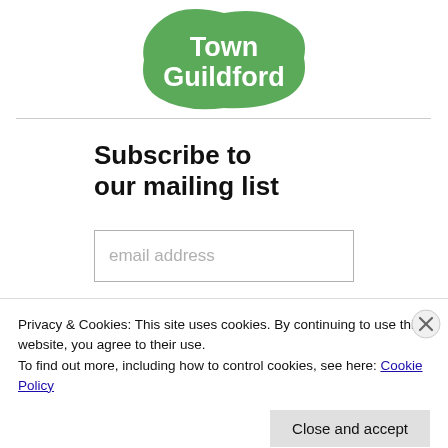[Figure (logo): Green blob-shaped logo with white text reading 'Town Guildford']
Subscribe to our mailing list
email address
Privacy & Cookies: This site uses cookies. By continuing to use this website, you agree to their use.
To find out more, including how to control cookies, see here: Cookie Policy
Close and accept